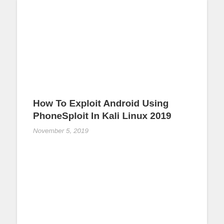How To Exploit Android Using PhoneSploit In Kali Linux 2019
November 5, 2019